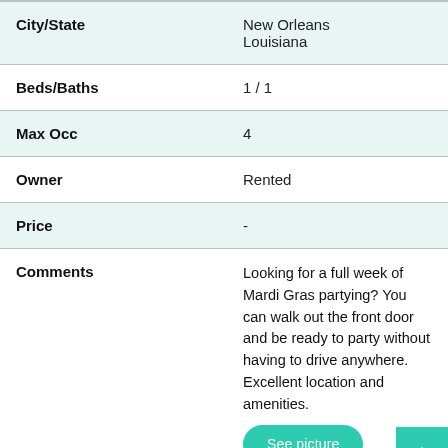| Field | Value |
| --- | --- |
| City/State | New Orleans Louisiana |
| Beds/Baths | 1 / 1 |
| Max Occ | 4 |
| Owner | Rented |
| Price | - |
| Comments | Looking for a full week of Mardi Gras partying? You can walk out the front door and be ready to party without having to drive anywhere. Excellent location and amenities. |